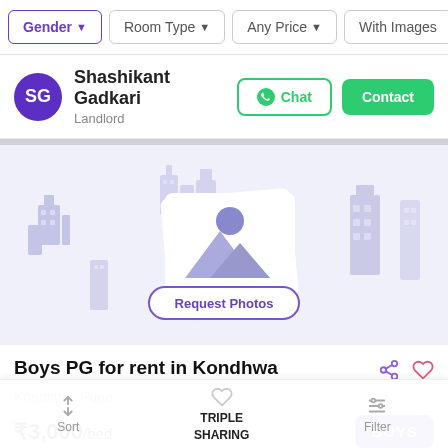Gender | Room Type | Any Price | With Images | More
SG Shashikant Gadkari Landlord
[Figure (illustration): No Photos placeholder image with scattered building icons and a camera/image icon in the center, labeled NO PHOTOS, with a Request Photos button]
Boys PG for rent in Kondhwa
Kondhwa, Pune
₹3,000/bed
BOYS
Sort | TRIPLE SHARING | Filter